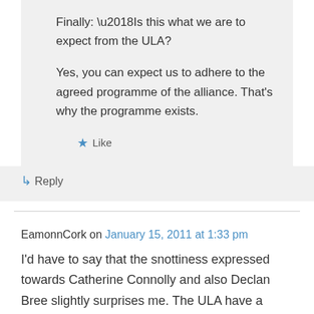Finally: ‘Is this what we are to expect from the ULA?
Yes, you can expect us to adhere to the agreed programme of the alliance. That’s why the programme exists.
★ Like
↳ Reply
EamonnCork on January 15, 2011 at 1:33 pm
I’d have to say that the snottiness expressed towards Catherine Connolly and also Declan Bree slightly surprises me. The ULA have a